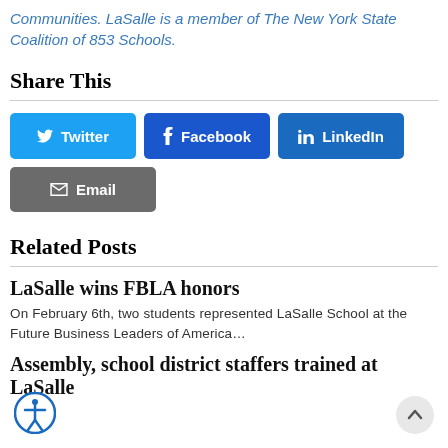Communities. LaSalle is a member of The New York State Coalition of 853 Schools.
Share This
[Figure (infographic): Social sharing buttons: Twitter (light blue), Facebook (dark blue), LinkedIn (medium blue), Email (gray)]
Related Posts
LaSalle wins FBLA honors
On February 6th, two students represented LaSalle School at the Future Business Leaders of America…
Assembly, school district staffers trained at LaSalle